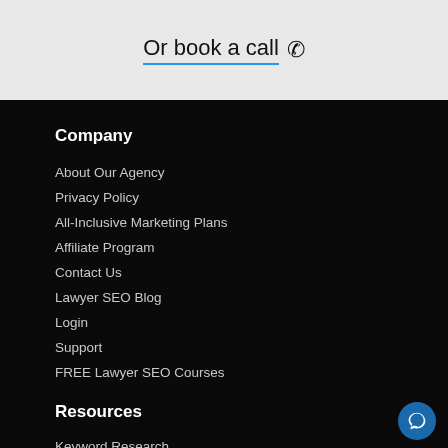Or book a call
Company
About Our Agency
Privacy Policy
All-Inclusive Marketing Plans
Affiliate Program
Contact Us
Lawyer SEO Blog
Login
Support
FREE Lawyer SEO Courses
Resources
Keyword Research
SEO Tasks Automation
Google My Business